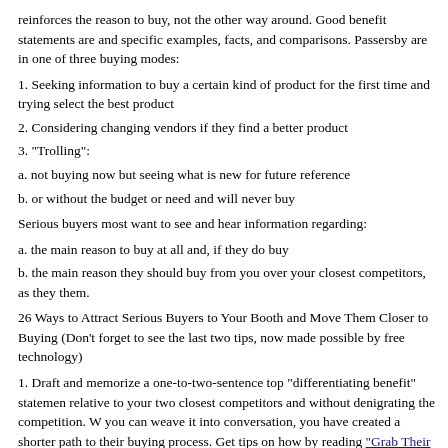reinforces the reason to buy, not the other way around. Good benefit statements are and specific examples, facts, and comparisons. Passersby are in one of three buying modes:
1. Seeking information to buy a certain kind of product for the first time and trying select the best product
2. Considering changing vendors if they find a better product
3. "Trolling":
a. not buying now but seeing what is new for future reference
b. or without the budget or need and will never buy
Serious buyers most want to see and hear information regarding:
a. the main reason to buy at all and, if they do buy
b. the main reason they should buy from you over your closest competitors, as they them.
26 Ways to Attract Serious Buyers to Your Booth and Move Them Closer to Buying (Don't forget to see the last two tips, now made possible by free technology)
1. Draft and memorize a one-to-two-sentence top "differentiating benefit" statement relative to your two closest competitors and without denigrating the competition. W you can weave it into conversation, you have created a shorter path to their buying process. Get tips on how by reading "Grab Their Attention."